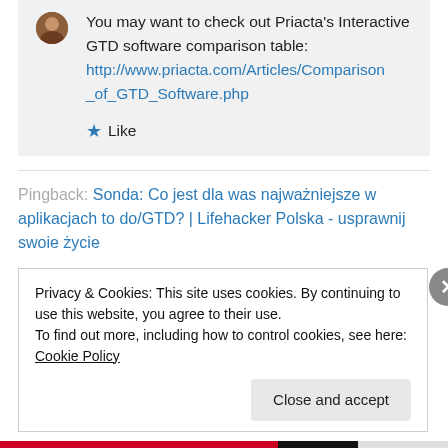You may want to check out Priacta's Interactive GTD software comparison table: http://www.priacta.com/Articles/Comparison_of_GTD_Software.php
★ Like
Pingback: Sonda: Co jest dla was najważniejsze w aplikacjach to do/GTD? | Lifehacker Polska - usprawnij swoje życie
Privacy & Cookies: This site uses cookies. By continuing to use this website, you agree to their use.
To find out more, including how to control cookies, see here: Cookie Policy
Close and accept